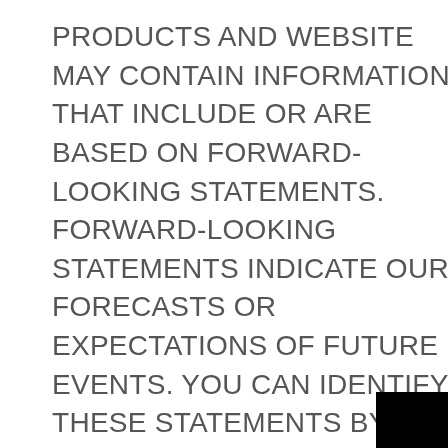PRODUCTS AND WEBSITE MAY CONTAIN INFORMATION THAT INCLUDE OR ARE BASED ON FORWARD-LOOKING STATEMENTS. FORWARD-LOOKING STATEMENTS INDICATE OUR FORECASTS OR EXPECTATIONS OF FUTURE EVENTS. YOU CAN IDENTIFY THESE STATEMENTS BY THE FACT THAT THEY DO NOT RELATE STRICTLY TO CURRENT OR HISTORICAL FACTS. THEY ALSO USE WORDS SUCH AS “EXPECT”, “ANTICIPATE”, “BELIEVE”, “ESTIMATE”, “PROJECT”, “MAY”, “POSSIBLE”, “PLAN”, “INTEND” AND OTHER WORDS, PHRASES AND TERMS OF SIMILAR MEANING IN RELATION WITH DESCRIPTIONS OF POTENTIAL OR POSSIBLE INCOME, EARNINGS O…